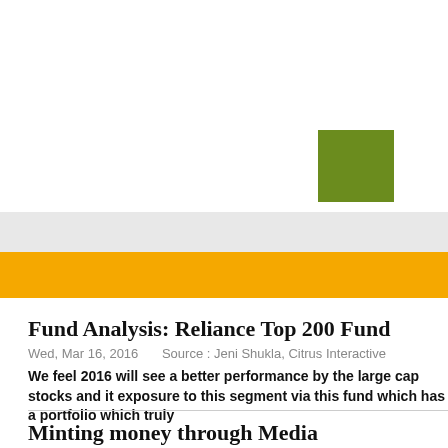[Figure (other): Green square decorative element]
[Figure (other): Gray navigation bar]
[Figure (other): Orange accent bar]
Fund Analysis: Reliance Top 200 Fund
Wed, Mar 16, 2016    Source : Jeni Shukla, Citrus Interactive
We feel 2016 will see a better performance by the large cap stocks and it exposure to this segment via this fund which has a portfolio which truly
Minting money through Media
Fri, Apr 26, 2013    Source : Jeni Shukla, Citrus Interactive